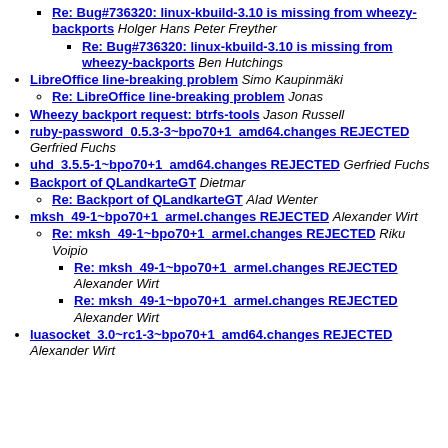Re: Bug#736320: linux-kbuild-3.10 is missing from wheezy-backports Holger Hans Peter Freyther
Re: Bug#736320: linux-kbuild-3.10 is missing from wheezy-backports Ben Hutchings
LibreOffice line-breaking problem Simo Kaupinmäki
Re: LibreOffice line-breaking problem Jonas
Wheezy backport request: btrfs-tools Jason Russell
ruby-password_0.5.3-3~bpo70+1_amd64.changes REJECTED Gerfried Fuchs
uhd_3.5.5-1~bpo70+1_amd64.changes REJECTED Gerfried Fuchs
Backport of QLandkarteGT Dietmar
Re: Backport of QLandkarteGT Alad Wenter
mksh_49-1~bpo70+1_armel.changes REJECTED Alexander Wirt
Re: mksh_49-1~bpo70+1_armel.changes REJECTED Riku Voipio
Re: mksh_49-1~bpo70+1_armel.changes REJECTED Alexander Wirt
Re: mksh_49-1~bpo70+1_armel.changes REJECTED Alexander Wirt
luasocket_3.0~rc1-3~bpo70+1_amd64.changes REJECTED Alexander Wirt